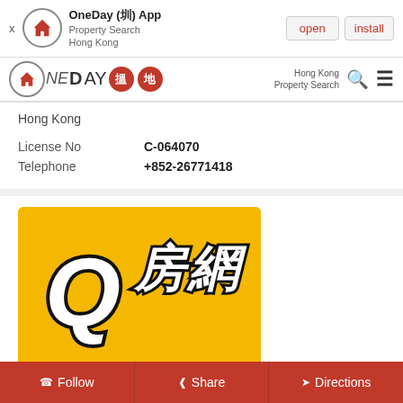OneDay (圳) App — Property Search Hong Kong — open | install
OneDay 搵地 — Hong Kong Property Search
Hong Kong
| License No | C-064070 |
| Telephone | +852-26771418 |
[Figure (logo): Q房網 logo — stylized Q with Chinese characters 房網 on yellow background]
Baguio Villa Shop
Shop B1, G/F, Block 32-40, Baguio Villa, Pok Fu Lam
Follow   Share   Directions